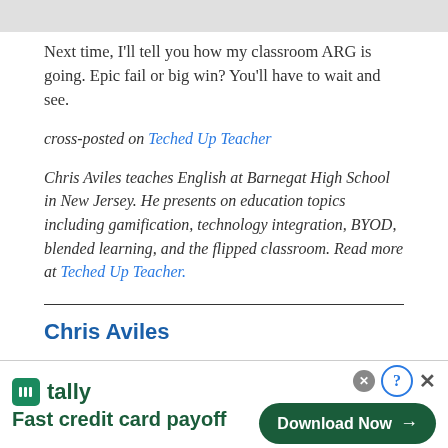Next time, I'll tell you how my classroom ARG is going. Epic fail or big win? You'll have to wait and see.
cross-posted on Teched Up Teacher
Chris Aviles teaches English at Barnegat High School in New Jersey. He presents on education topics including gamification, technology integration, BYOD, blended learning, and the flipped classroom. Read more at Teched Up Teacher.
Chris Aviles
[Figure (infographic): Tally advertisement banner: tally logo, 'Fast credit card payoff', Download Now button, close controls]